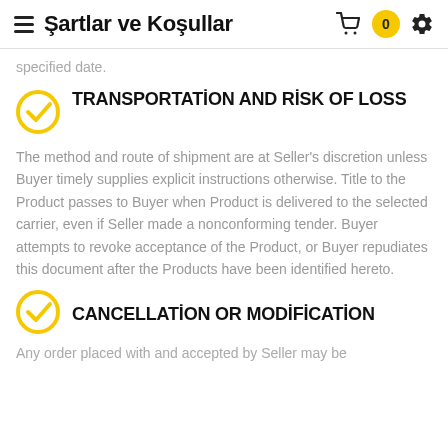Şartlar ve Koşullar
specified date.
TRANSPORTATİON AND RİSK OF LOSS
The method and route of shipment are at Seller's discretion unless Buyer timely supplies explicit instructions otherwise. Title to the Product passes to Buyer when Product is delivered to the selected carrier, even if Seller made a nonconforming tender. Buyer attempts to revoke acceptance of the Product, or Buyer repudiates this document after the Products have been identified hereto.
CANCELLATİON OR MODİFİCATİON
Any order placed with and accepted by Seller may be